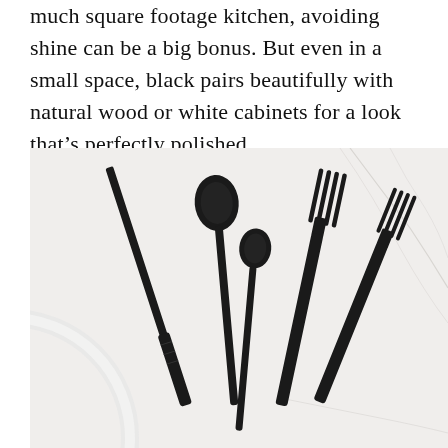much square footage kitchen, avoiding shine can be a big bonus. But even in a small space, black pairs beautifully with natural wood or white cabinets for a look that's perfectly polished.
[Figure (photo): Five pieces of black matte cutlery (a knife, a large spoon, a small teaspoon, a dinner fork, and a salad fork) arranged on a white marble surface with a partial white plate visible in the lower left corner.]